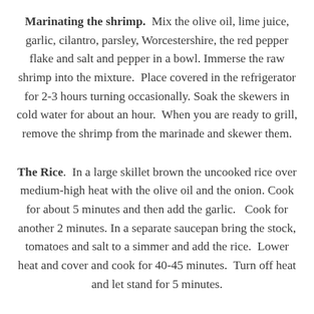Marinating the shrimp. Mix the olive oil, lime juice, garlic, cilantro, parsley, Worcestershire, the red pepper flake and salt and pepper in a bowl. Immerse the raw shrimp into the mixture. Place covered in the refrigerator for 2-3 hours turning occasionally. Soak the skewers in cold water for about an hour. When you are ready to grill, remove the shrimp from the marinade and skewer them.
The Rice. In a large skillet brown the uncooked rice over medium-high heat with the olive oil and the onion. Cook for about 5 minutes and then add the garlic. Cook for another 2 minutes. In a separate saucepan bring the stock, tomatoes and salt to a simmer and add the rice. Lower heat and cover and cook for 40-45 minutes. Turn off heat and let stand for 5 minutes.